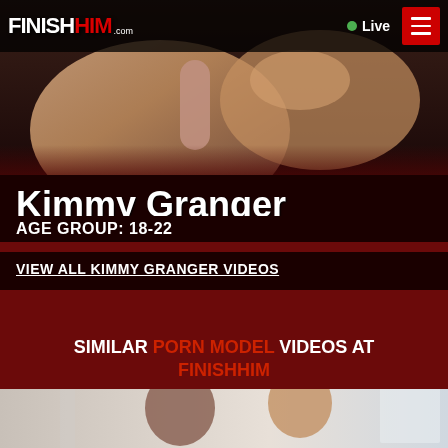FINISHHIM.com  Live  ☰
[Figure (photo): Close-up photo of a person's hands and torso, dark background, appears to be from an adult website]
Kimmy Granger
AGE GROUP: 18-22
VIEW ALL KIMMY GRANGER VIDEOS
SIMILAR PORN MODEL VIDEOS AT FINISHHIM
[Figure (photo): Photo of two women smiling, light background, appears to be from an adult website]